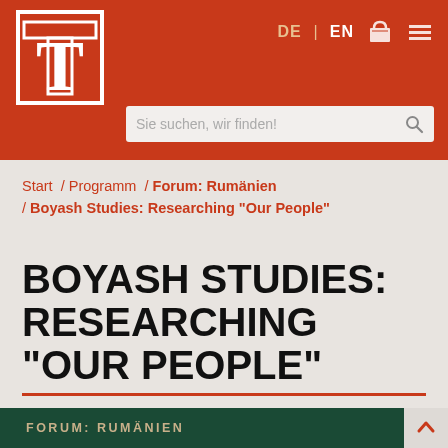DE | EN [basket] [menu]
[Figure (logo): Letter T logo in white outline on red background]
Sie suchen, wir finden!
Start / Programm / Forum: Rumänien / Boyash Studies: Researching "Our People"
BOYASH STUDIES: RESEARCHING "OUR PEOPLE"
FORUM: RUMÄNIEN